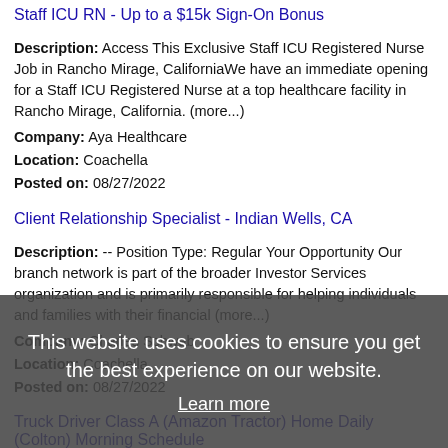Staff ICU RN - Up to a $15k Sign-On Bonus
Description: Access This Exclusive Staff ICU Registered Nurse Job in Rancho Mirage, CaliforniaWe have an immediate opening for a Staff ICU Registered Nurse at a top healthcare facility in Rancho Mirage, California. (more...)
Company: Aya Healthcare
Location: Coachella
Posted on: 08/27/2022
Client Relationship Specialist - Indian Wells, CA
Description: -- Position Type: Regular Your Opportunity Our branch network is part of the broader Investor Services organization and is primarily responsible for helping individuals and families with their financial (more...)
Company: Charles Schwab
Location: Coachella
Posted on: 08/27/2022
Truck Driver Class A (Amazon Tractor) Home Daily (Colton) Morning Schedule
Description: Class A CDL Truck Drivers for the Amazon Freight Partner program AMI Logistics is committed to Amazon
Company: AFP
Location: Yucaipa
[Figure (other): Cookie consent banner overlay: 'This website uses cookies to ensure you get the best experience on our website.' with 'Learn more' and 'Got it!' buttons]